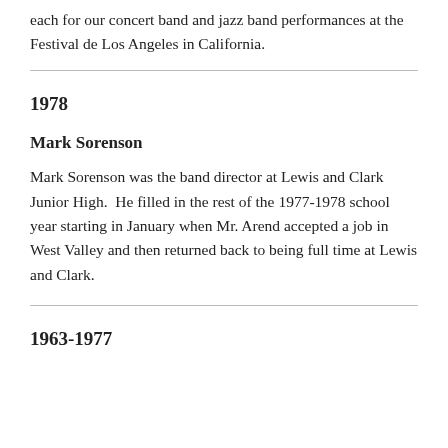each for our concert band and jazz band performances at the Festival de Los Angeles in California.
1978
Mark Sorenson
Mark Sorenson was the band director at Lewis and Clark Junior High.  He filled in the rest of the 1977-1978 school year starting in January when Mr. Arend accepted a job in West Valley and then returned back to being full time at Lewis and Clark.
1963-1977